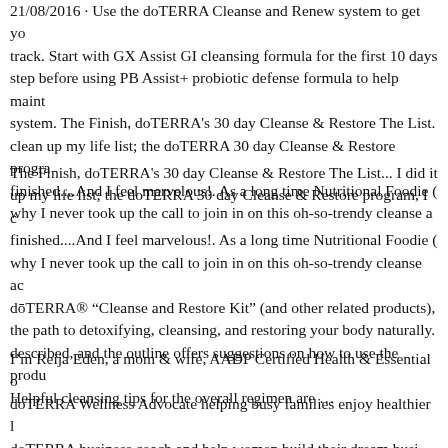21/08/2016 · Use the doTERRA Cleanse and Renew system to get yo... track. Start with GX Assist GI cleansing formula for the first 10 days... step before using PB Assist+ probiotic defense formula to help maint... system. The Finish, doTERRA's 30 day Cleanse & Restore The List.... clean up my life list; the doTERRA 30 day Cleanse & Restore progra... finished....And I feel marvelous!. As a long time Nutritional Foodie (... why I never took up the call to join in on this oh-so-trendy cleanse a...
The Finish, doTERRA's 30 day Cleanse & Restore The List... I did it... up my life list; the doTERRA 30 day Cleanse & Restore program, I c... finished....And I feel marvelous!. As a long time Nutritional Foodie (... why I never took up the call to join in on this oh-so-trendy cleanse ac... dōTERRA® "Cleanse and Restore Kit" (and other related products),... the path to detoxifying, cleansing, and restoring your body naturally.... described, and the outline offers suggestions on how to use the produ... Helpful cleansing tips for the overall regimen are …
I'm Reija Eden, a mom & wife, AADP Certified Health & Essential o... doTERRA Wellness Advocate helping busy families enjoy healthier l... doTERRA business coach and help women build their dream busi...